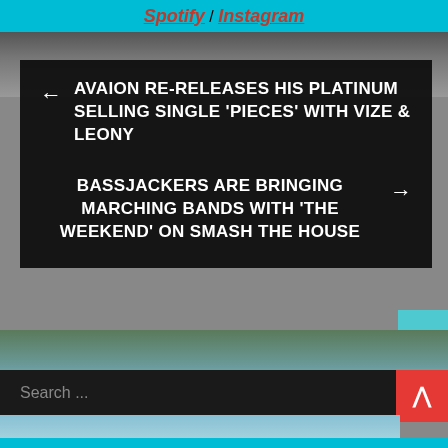Spotify / Instagram
← AVAION RE-RELEASES HIS PLATINUM SELLING SINGLE 'PIECES' WITH VIZE & LEONY
BASSJACKERS ARE BRINGING MARCHING BANDS WITH 'THE WEEKEND' ON SMASH THE HOUSE →
Search ...